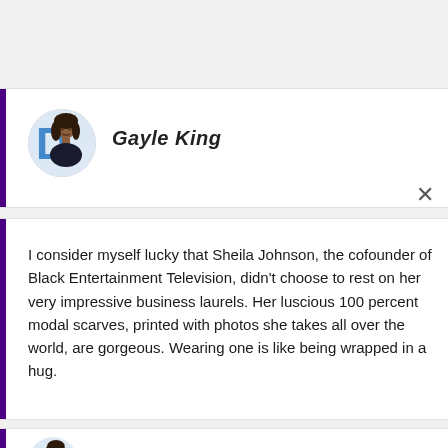[Figure (screenshot): Social media or app card showing Gayle King profile with avatar photo and bold italic name, with a close (X) button in the upper right]
I consider myself lucky that Sheila Johnson, the cofounder of Black Entertainment Television, didn't choose to rest on her very impressive business laurels. Her luscious 100 percent modal scarves, printed with photos she takes all over the world, are gorgeous. Wearing one is like being wrapped in a hug.
[Figure (screenshot): Partial view of a second Gayle King profile card at the bottom of the page, showing avatar and partial name text]